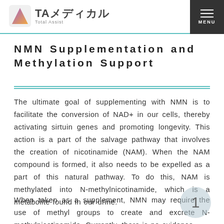TAメディカル Total Assist
NMN Supplementation and Methylation Support
The ultimate goal of supplementing with NMN is to facilitate the conversion of NAD+ in our cells, thereby activating sirtuin genes and promoting longevity. This action is a part of the salvage pathway that involves the creation of nicotinamide (NAM). When the NAM compound is formed, it also needs to be expelled as a part of this natural pathway. To do this, NAM is methylated into N-methylnicotinamide, which is a metabolite found in our urine.
When taken as a supplement, NMN may require the use of methyl groups to create and excrete N-methylnicotinamide. Currently, there is no evidence